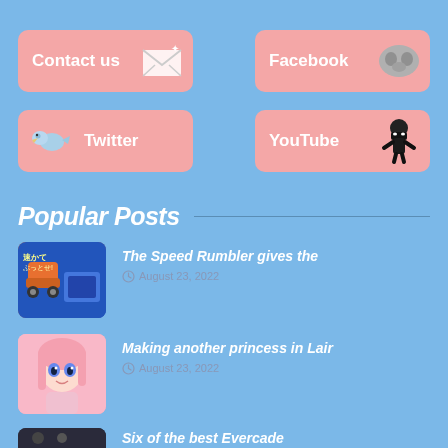[Figure (other): Contact us button with envelope icon]
[Figure (other): Facebook button with abstract face icon]
[Figure (other): Twitter button with bird icon]
[Figure (other): YouTube button with ninja icon]
Popular Posts
[Figure (photo): Arcade game thumbnail - The Speed Rumbler]
The Speed Rumbler gives the
August 23, 2022
[Figure (illustration): Anime girl with pink hair thumbnail - Making another princess in Lair]
Making another princess in Lair
August 23, 2022
[Figure (photo): Dark cinematic thumbnail - Six of the best Evercade]
Six of the best Evercade